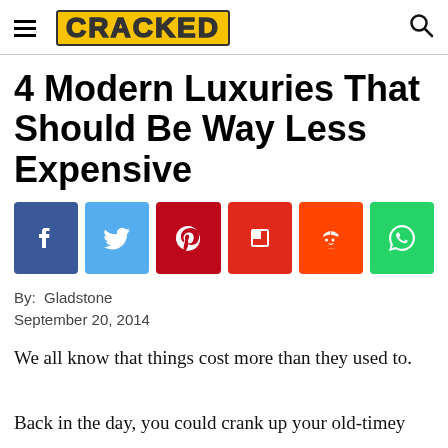CRACKED
4 Modern Luxuries That Should Be Way Less Expensive
[Figure (infographic): Social sharing buttons: Facebook (dark blue), Twitter (light blue), Pinterest (dark red), Flipboard (red), Reddit (orange-red), WhatsApp (green)]
By: Gladstone
September 20, 2014
We all know that things cost more than they used to. Back in the day, you could crank up your old-timey car, drive it into town, and purchase a meal, a new suit, and